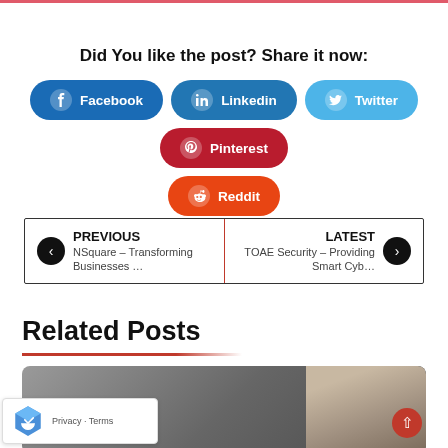Did You like the post? Share it now:
Facebook
Linkedin
Twitter
Pinterest
Reddit
PREVIOUS NSquare – Transforming Businesses …
LATEST TOAE Security – Providing Smart Cyb…
Related Posts